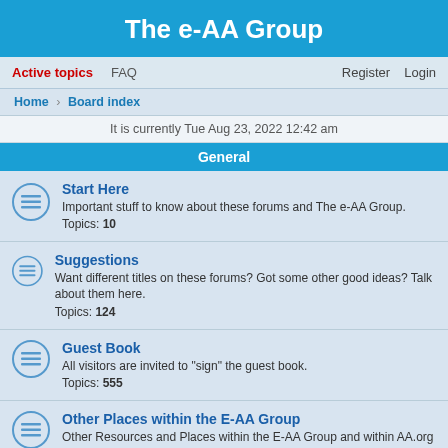The e-AA Group
Active topics  FAQ  Register  Login
Home > Board index
It is currently Tue Aug 23, 2022 12:42 am
General
Start Here
Important stuff to know about these forums and The e-AA Group.
Topics: 10
Suggestions
Want different titles on these forums? Got some other good ideas? Talk about them here.
Topics: 124
Guest Book
All visitors are invited to "sign" the guest book.
Topics: 555
Other Places within the E-AA Group
Other Resources and Places within the E-AA Group and within AA.org
Topics: 2
Service & Unity
The 12 Traditions of AA
The AA Traditions of Alcoholics Anonymous...